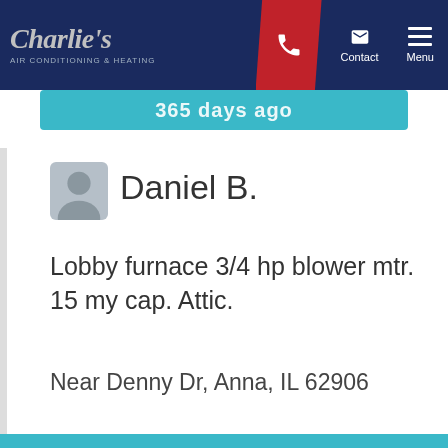[Figure (logo): Charlie's Air Conditioning & Heating logo with navigation bar showing phone, contact, and menu icons on dark blue background]
365 days ago
Daniel B.
Lobby furnace 3/4 hp blower mtr. 15 my cap. Attic.
Near Denny Dr, Anna, IL 62906